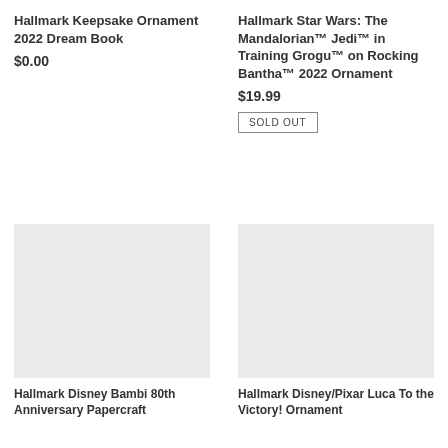Hallmark Keepsake Ornament 2022 Dream Book
$0.00
Hallmark Star Wars: The Mandalorian™ Jedi™ in Training Grogu™ on Rocking Bantha™ 2022 Ornament
$19.99
SOLD OUT
[Figure (photo): Product image placeholder (light gray box) for Hallmark Disney Bambi 80th Anniversary Papercraft]
Hallmark Disney Bambi 80th Anniversary Papercraft
[Figure (photo): Product image placeholder (light gray box) for Hallmark Disney/Pixar Luca To the Victory! Ornament]
Hallmark Disney/Pixar Luca To the Victory! Ornament